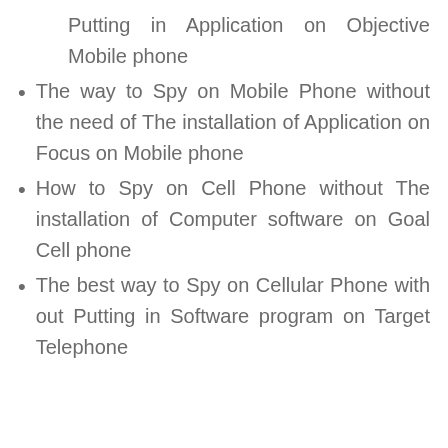Putting in Application on Objective Mobile phone
The way to Spy on Mobile Phone without the need of The installation of Application on Focus on Mobile phone
How to Spy on Cell Phone without The installation of Computer software on Goal Cell phone
The best way to Spy on Cellular Phone with out Putting in Software program on Target Telephone